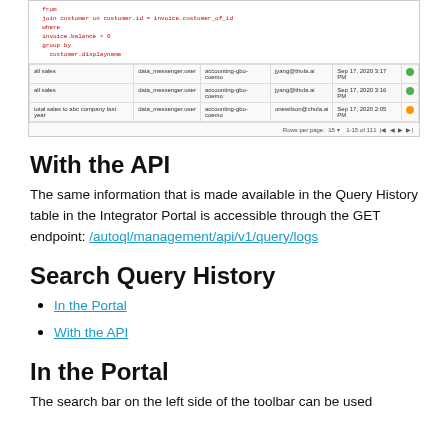[Figure (screenshot): Screenshot of a query history table UI showing SQL code and rows with columns for query name, user, connection, email, date, and status icons. Footer shows pagination: Rows per page: 15, 1-15 of 111.]
With the API
The same information that is made available in the Query History table in the Integrator Portal is accessible through the GET endpoint: /autoql/management/api/v1/query/logs
Search Query History
In the Portal
With the API
In the Portal
The search bar on the left side of the toolbar can be used